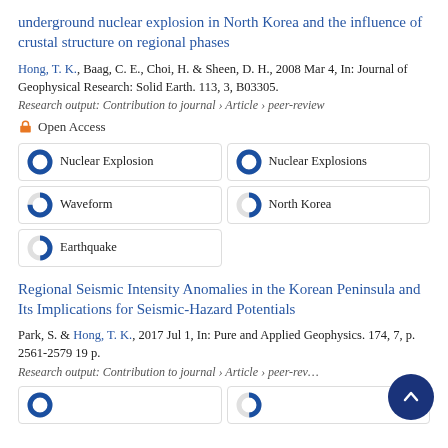underground nuclear explosion in North Korea and the influence of crustal structure on regional phases
Hong, T. K., Baag, C. E., Choi, H. & Sheen, D. H., 2008 Mar 4, In: Journal of Geophysical Research: Solid Earth. 113, 3, B03305.
Research output: Contribution to journal › Article › peer-review
Open Access
Nuclear Explosion
Nuclear Explosions
Waveform
North Korea
Earthquake
Regional Seismic Intensity Anomalies in the Korean Peninsula and Its Implications for Seismic-Hazard Potentials
Park, S. & Hong, T. K., 2017 Jul 1, In: Pure and Applied Geophysics. 174, 7, p. 2561-2579 19 p.
Research output: Contribution to journal › Article › peer-review